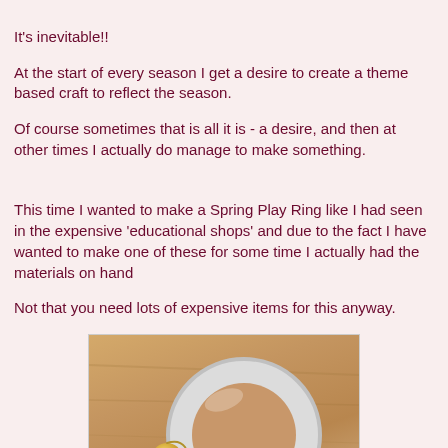It's inevitable!! At the start of every season I get a desire to create a theme based craft to reflect the season. Of course sometimes that is all it is - a desire, and then at other times I actually do manage to make something.

This time I wanted to make a Spring Play Ring like I had seen in the expensive 'educational shops' and due to the fact I have wanted to make one of these for some time I actually had the materials on hand
Not that you need lots of expensive items for this anyway.
[Figure (photo): A white wooden ring (like a curtain ring or embroidery hoop) with a small gold heart-shaped charm attached, lying on a wooden table surface.]